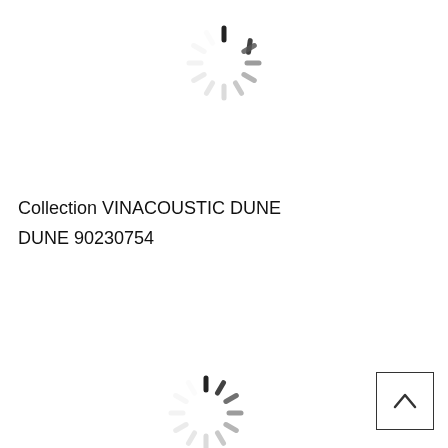[Figure (other): Loading spinner icon (circular dashed spinner) at top center of page]
Collection VINACOUSTIC DUNE
DUNE 90230754
[Figure (other): Loading spinner icon (circular dashed spinner) at bottom center of page]
[Figure (other): Scroll-to-top button with caret/chevron up arrow, bottom right corner]